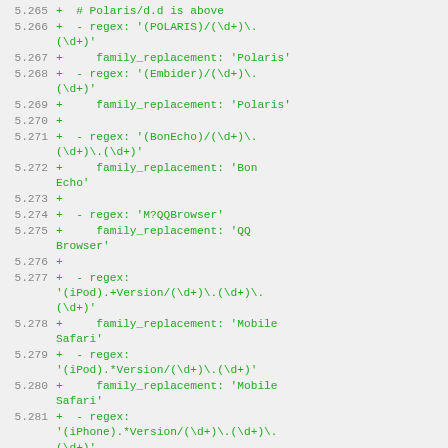Code diff showing regex and family_replacement entries for browser detection (lines 5.265–5.282)